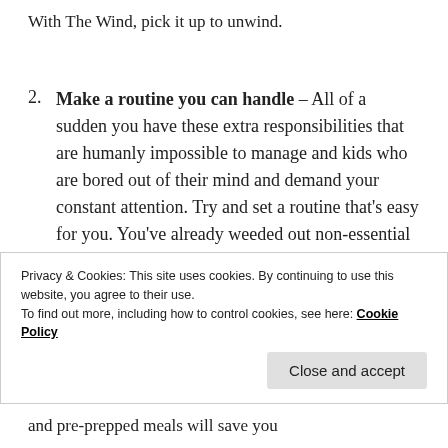With The Wind, pick it up to unwind.
2. Make a routine you can handle – All of a sudden you have these extra responsibilities that are humanly impossible to manage and kids who are bored out of their mind and demand your constant attention. Try and set a routine that's easy for you. You've already weeded out non-essential things. Now create a rotation for the essential ones. Maybe
Privacy & Cookies: This site uses cookies. By continuing to use this website, you agree to their use. To find out more, including how to control cookies, see here: Cookie Policy
and pre-prepped meals will save you